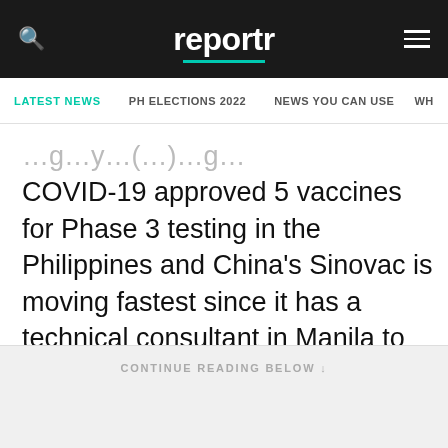reportr
LATEST NEWS  PH ELECTIONS 2022  NEWS YOU CAN USE  WH
COVID-19 approved 5 vaccines for Phase 3 testing in the Philippines and China's Sinovac is moving fastest since it has a technical consultant in Manila to coordinate with the Food and Drug Administration, she said.
CONTINUE READING BELOW ↓